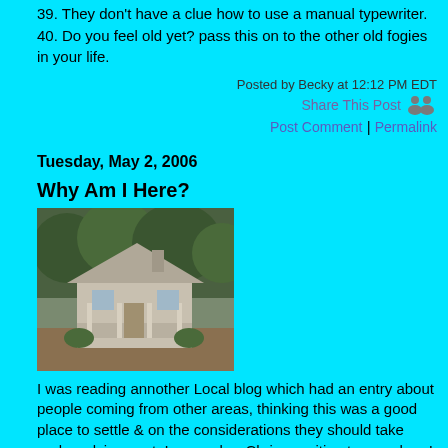39. They don't have a clue how to use a manual typewriter.
40. Do you feel old yet? pass this on to the other old fogies in your life.
Posted by Becky at 12:12 PM EDT
Share This Post
Post Comment | Permalink
Tuesday, May 2, 2006
Why Am I Here?
[Figure (photo): A small white house with a porch surrounded by trees and shrubs]
I was reading annother Local blog which had an entry about people coming from other areas, thinking this was a good place to settle & on the considerations they should take under advisement, I remember Chrissy writing to me when I was planing to move here & bring my boyfriend, who became my Husband & is now my Ex, with